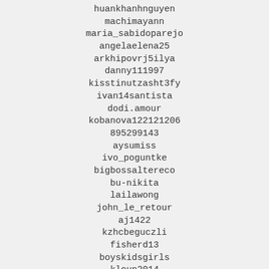huankhanhnguyen
machimayann
maria_sabidoparejo
angelaelena25
arkhipovrj5ilya
danny111997
kisstinutzasht3fy
ivan14santista
dodi.amour
kobanova122121206
895299143
aysumiss
ivo_poguntke
bigbossaltereco
bu-nikita
lailawong
john_le_retour
aj1422
kzhcbeguczli
fisherd13
boyskidsgirls
kloun2014
lauraspringsteen
edhoipindo